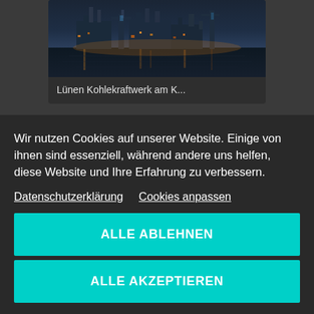[Figure (photo): Photo of Lünen Kohlekraftwerk (coal power plant) at dusk/night with reflections on water, showing industrial skyline with cranes and buildings lit in orange and blue tones]
Lünen Kohlekraftwerk am K...
Wir nutzen Cookies auf unserer Website. Einige von ihnen sind essenziell, während andere uns helfen, diese Website und Ihre Erfahrung zu verbessern.
Datenschutzerklärung   Cookies anpassen
ALLE ABLEHNEN
ALLE AKZEPTIEREN